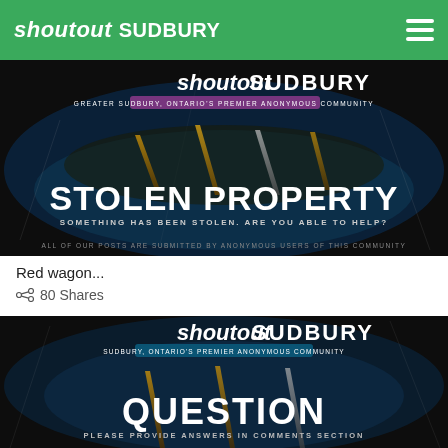shoutout SUDBURY
[Figure (screenshot): Shoutout Sudbury 'Stolen Property' banner image. Dark background with glowing knives/daggers. Text reads: shoutout SUDBURY / GREATER SUDBURY, ONTARIO'S PREMIER ANONYMOUS COMMUNITY / STOLEN PROPERTY / SOMETHING HAS BEEN STOLEN. ARE YOU ABLE TO HELP? / ALL OF OUR POSTS ARE SUBMITTED BY ANONYMOUS USERS OF THIS COMMUNITY]
Red wagon...
80 Shares
[Figure (screenshot): Shoutout Sudbury 'Question' banner image. Dark background with glowing daggers. Text reads: shoutout SUDBURY / SUDBURY, ONTARIO'S PREMIER ANONYMOUS COMMUNITY / QUESTION / PLEASE PROVIDE ANSWERS IN COMMENTS SECTION]